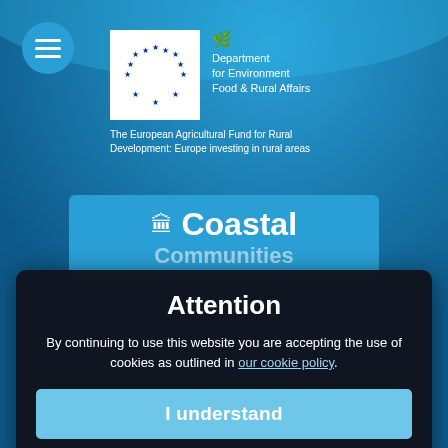[Figure (logo): Blue background with EU star circle logo and UK Department for Environment Food & Rural Affairs logo]
The European Agricultural Fund for Rural Development: Europe investing in rural areas
[Figure (logo): Coastal Communities Fund logo with lighthouse icon and blue banner]
Attention
By continuing to use this website you are accepting the use of cookies as outlined in our cookie policy.
I understand